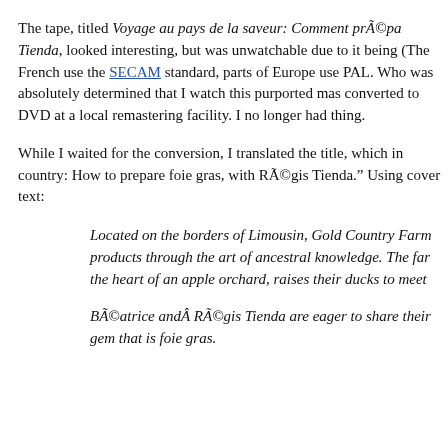The tape, titled Voyage au pays de la saveur: Comment prÃ©pa Tienda, looked interesting, but was unwatchable due to it being (The French use the SECAM standard, parts of Europe use PAL. Who was absolutely determined that I watch this purported mas converted to DVD at a local remastering facility. I no longer had thing.
While I waited for the conversion, I translated the title, which in country: How to prepare foie gras, with RÃ©gis Tienda.” Using cover text:
Located on the borders of Limousin, Gold Country Farm products through the art of ancestral knowledge. The far the heart of an apple orchard, raises their ducks to meet
BÃ©atrice andÂ RÃ©gis Tienda are eager to share their gem that is foie gras.